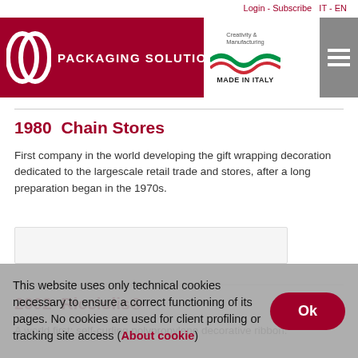Login - Subscribe  IT - EN
[Figure (logo): LB Packaging Solutions logo with red bar, Italian flag ribbon and Made in Italy text]
1980  Chain Stores
First company in the world developing the gift wrapping decoration dedicated to the largescale retail trade and stores, after a long preparation began in the 1970s.
[Figure (photo): Image placeholder for 1980 Chain Stores section]
2002  Ricciolis®
A world first: self-curling polypropylene decorative ribbon.
This website uses only technical cookies necessary to ensure a correct functioning of its pages. No cookies are used for client profiling or tracking site access (About cookie)